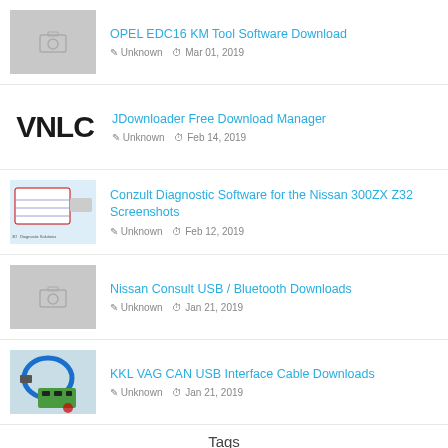OPEL EDC16 KM Tool Software Download
Unknown  Mar 01, 2019
JDownloader Free Download Manager
Unknown  Feb 14, 2019
Conzult Diagnostic Software for the Nissan 300ZX Z32 Screenshots
Unknown  Feb 12, 2019
Nissan Consult USB / Bluetooth Downloads
Unknown  Jan 21, 2019
KKL VAG CAN USB Interface Cable Downloads
Unknown  Jan 21, 2019
Tags